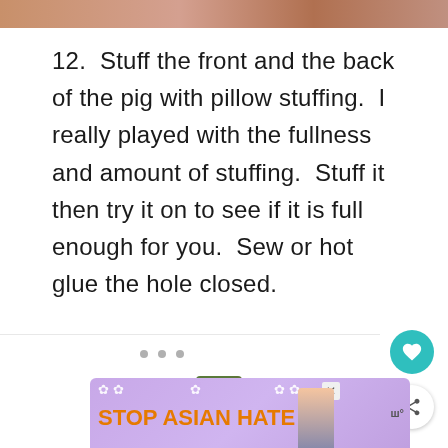[Figure (photo): Top portion of a photo, partially visible at the top of the page]
12.  Stuff the front and the back of the pig with pillow stuffing.  I really played with the fullness and amount of stuffing.  Stuff it then try it on to see if it is full enough for you.  Sew or hot glue the hole closed.
[Figure (screenshot): UI buttons: heart/favorite button (teal circle with heart icon) and share button (white circle with share icon), three navigation dots]
[Figure (screenshot): What's Next card showing: WHAT'S NEXT arrow label in teal, thumbnail of Animal Muppet craft, text 'Animal Muppet...']
[Figure (infographic): Advertisement banner with purple/lavender background, white flower decorations, orange bold text reading 'STOP ASIAN HATE', anime-style character illustration, and a logo on the right]